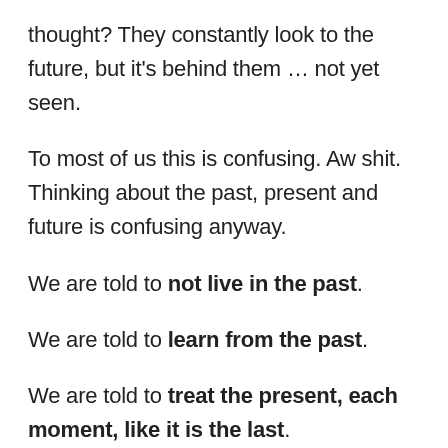thought? They constantly look to the future, but it's behind them … not yet seen.
To most of us this is confusing. Aw shit. Thinking about the past, present and future is confusing anyway.
We are told to not live in the past.
We are told to learn from the past.
We are told to treat the present, each moment, like it is the last.